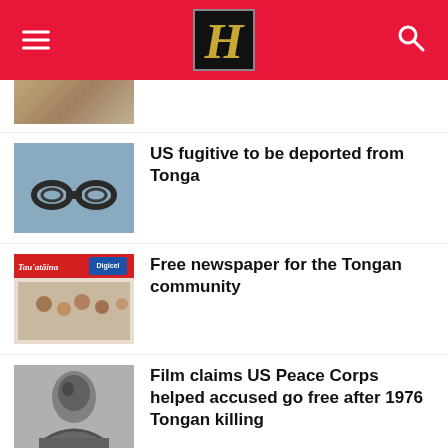Hawaii newspaper header bar with logo H
[Figure (photo): Partial view of a news thumbnail at top of article list]
US fugitive to be deported from Tonga
[Figure (photo): Handcuffs on dark surface]
Free newspaper for the Tongan community
[Figure (photo): Tau'ataina newspaper front page with Digicel logo and family photo]
Film claims US Peace Corps helped accused go free after 1976 Tongan killing
[Figure (photo): Black and white portrait of woman]
Tonga seeks ownership of Fiji's Lau group
[Figure (map): Map showing Tonga and surrounding Pacific islands]